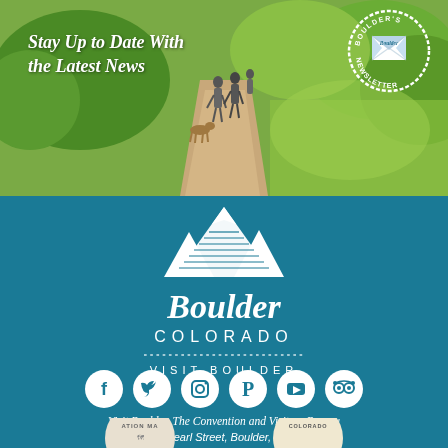[Figure (photo): Outdoor trail scene with people walking on a dirt path through green meadows and trees, sunny day]
Stay Up to Date With the Latest News
[Figure (logo): Boulder's Newsletter badge/seal in upper right corner of photo]
[Figure (logo): Boulder Colorado Visit Boulder logo with mountain illustration in white on teal background]
[Figure (infographic): Row of social media icons: Facebook, Twitter, Instagram, Pinterest, YouTube, TripAdvisor — white circles on teal background]
Visit Boulder, The Convention and Visitors Bureau
2440 Pearl Street, Boulder, CO 80302
303.442.2911   visitor@BoulderCVB.com
[Figure (logo): Partial badge at bottom left — Vacation Map badge]
[Figure (logo): Partial badge at bottom right — Colorado badge]